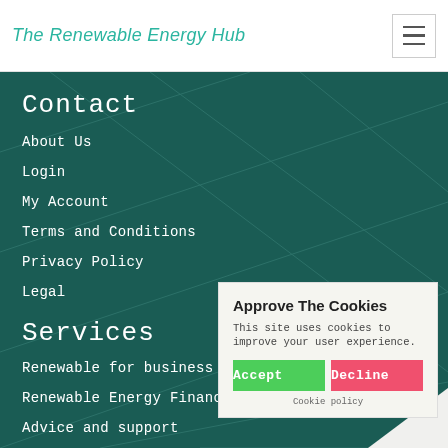The Renewable Energy Hub
Contact
About Us
Login
My Account
Terms and Conditions
Privacy Policy
Legal
Services
Renewable for business
Renewable Energy Finance
Advice and support
Find a trusted Installer
Renewable Energy news
Renewable Energy Forum
Installers Locations
[Figure (screenshot): Cookie consent popup with title 'Approve The Cookies', body text 'This site uses cookies to improve your user experience.', Accept button (green) and Decline button (red), and a Cookie policy link.]